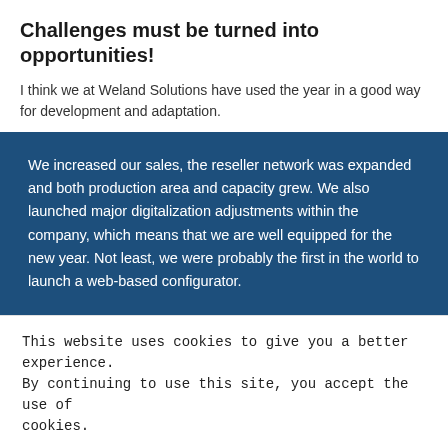Challenges must be turned into opportunities!
I think we at Weland Solutions have used the year in a good way for development and adaptation.
We increased our sales, the reseller network was expanded and both production area and capacity grew. We also launched major digitalization adjustments within the company, which means that we are well equipped for the new year. Not least, we were probably the first in the world to launch a web-based configurator.
This website uses cookies to give you a better experience. By continuing to use this site, you accept the use of cookies.
Cookie settings  ACCEPT